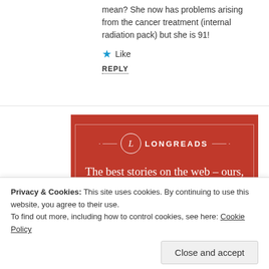mean? She now has problems arising from the cancer treatment (internal radiation pack) but she is 91!
★ Like
REPLY
[Figure (advertisement): Longreads advertisement banner on red background. Logo with circle L and brand name LONGREADS. Tagline: The best stories on the web – ours, and everyone else's. Button: Start reading]
Privacy & Cookies: This site uses cookies. By continuing to use this website, you agree to their use. To find out more, including how to control cookies, see here: Cookie Policy
Close and accept